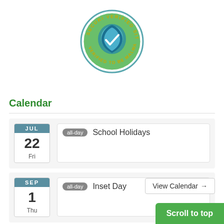[Figure (logo): Sucuri Verified Site - Verified to be Malware Free badge. A circular badge with a teal/blue shield logo in the center on a green background, surrounded by text reading 'SUCURI VERIFIED SITE' and 'VERIFIED TO BE MALWARE FREE'.]
Calendar
JUL 22 Fri — all-day — School Holidays
SEP 1 Thu — all-day — Inset Day
View Calendar →
Scroll to top